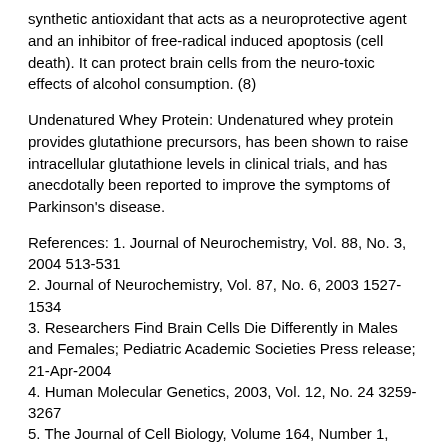synthetic antioxidant that acts as a neuroprotective agent and an inhibitor of free-radical induced apoptosis (cell death). It can protect brain cells from the neuro-toxic effects of alcohol consumption. (8)
Undenatured Whey Protein: Undenatured whey protein provides glutathione precursors, has been shown to raise intracellular glutathione levels in clinical trials, and has anecdotally been reported to improve the symptoms of Parkinson's disease.
References: 1. Journal of Neurochemistry, Vol. 88, No. 3, 2004 513-531
2. Journal of Neurochemistry, Vol. 87, No. 6, 2003 1527-1534
3. Researchers Find Brain Cells Die Differently in Males and Females; Pediatric Academic Societies Press release; 21-Apr-2004
4. Human Molecular Genetics, 2003, Vol. 12, No. 24 3259-3267
5. The Journal of Cell Biology, Volume 164, Number 1, 123-131; 5 January 2004
6. Biol Psychiatry. 2003 Feb;53(3):254-60